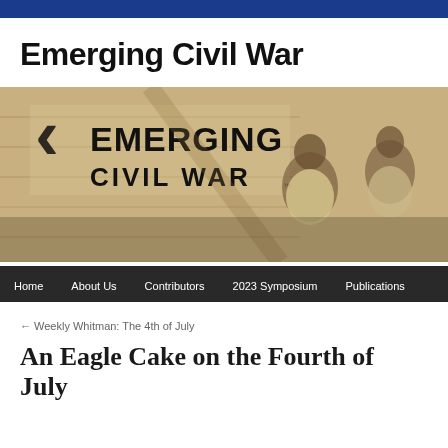Emerging Civil War
[Figure (screenshot): Emerging Civil War website banner featuring the site logo on the left with a sepia historical photograph of African American people seated in front of a wooden building, with navigation bar below showing: Home, About Us, Contributors, 2023 Symposium, Publications]
← Weekly Whitman: The 4th of July
An Eagle Cake on the Fourth of July